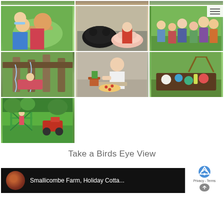[Figure (photo): Top strip row of three farm/nature photos partially visible]
[Figure (photo): Row of three photos: children feeding animals, pigs on farm, family group outdoors]
[Figure (photo): Row of three photos: water feature/play area, boy making pizza, outdoor dining table]
[Figure (photo): Single photo: children playing on climbing frame in green field with tractor]
Take a Birds Eye View
[Figure (screenshot): Video thumbnail bar showing Smallicombe Farm, Holiday Cotta... with circular farm logo thumbnail on dark background]
[Figure (screenshot): reCAPTCHA overlay with Privacy - Terms text and up arrow]
[Figure (screenshot): Hamburger menu icon overlay on top right of photo grid]